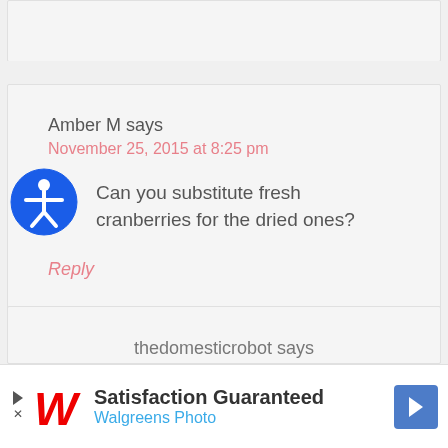Amber M says
November 25, 2015 at 8:25 pm
Can you substitute fresh cranberries for the dried ones?
Reply
thedomesticrobot says
Satisfaction Guaranteed Walgreens Photo